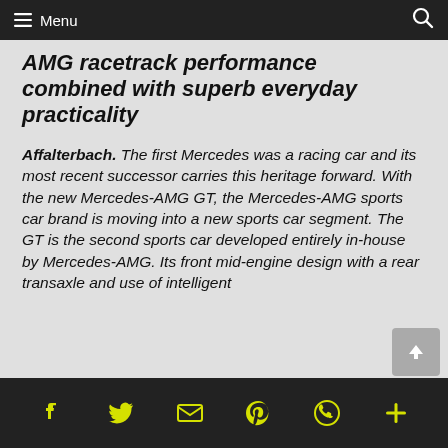Menu
AMG racetrack performance combined with superb everyday practicality
Affalterbach. The first Mercedes was a racing car and its most recent successor carries this heritage forward. With the new Mercedes-AMG GT, the Mercedes-AMG sports car brand is moving into a new sports car segment. The GT is the second sports car developed entirely in-house by Mercedes-AMG. Its front mid-engine design with a rear transaxle and use of intelligent
Social share icons: Facebook, Twitter, Email, Pinterest, WhatsApp, More